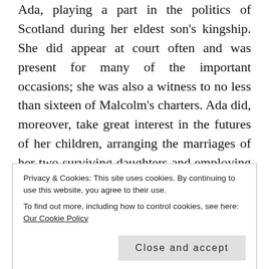Ada, playing a part in the politics of Scotland during her eldest son's kingship. She did appear at court often and was present for many of the important occasions; she was also a witness to no less than sixteen of Malcolm's charters. Ada did, moreover, take great interest in the futures of her children, arranging the marriages of her two surviving daughters and employing any means possible to persuade her son to marry. The chronicler, William of Newburgh, relates a story of the lengths Ada had to go to in order to get her reluctant son to choose a bride. Ada went so far as to present her son with a young woman of noble birth, in his bed. Not wishing to cause an
Privacy & Cookies: This site uses cookies. By continuing to use this website, you agree to their use.
To find out more, including how to control cookies, see here: Our Cookie Policy
Close and accept
woman to sleep, and the young king had to her